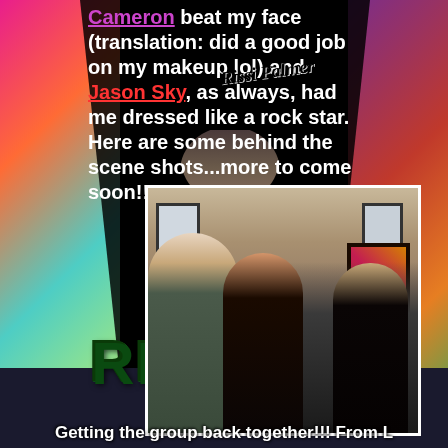Cameron beat my face (translation: did a good job on my makeup lol) and Jason Sky, as always, had me dressed like a rock star. Here are some behind the scene shots...more to come soon!!!
[Figure (photo): Group photo of three people posing together indoors — a tall man on the left in a gray t-shirt smiling, a woman with curly hair in the center wearing a dark floral top, and a woman on the right in a dark outfit. Room background with windows and wall art visible.]
Getting the group back together!!! From L